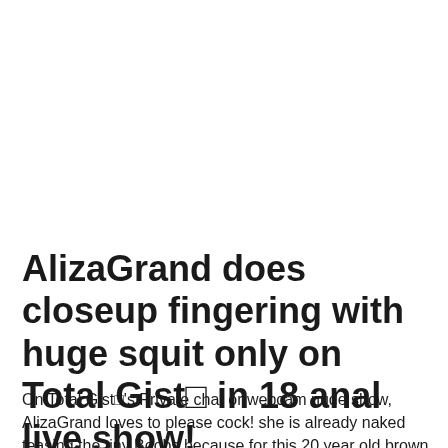AlizaGrand does closeup fingering with huge squit only on Total Gist□ in 18 anal live show!
On Total Gist□'s Private chat or webcam nude show, AlizaGrand loves to please cock! she is already naked teasing the tiny Boobs because for this 20 year old brown brown eyed pornstar, sex cam is the quickest